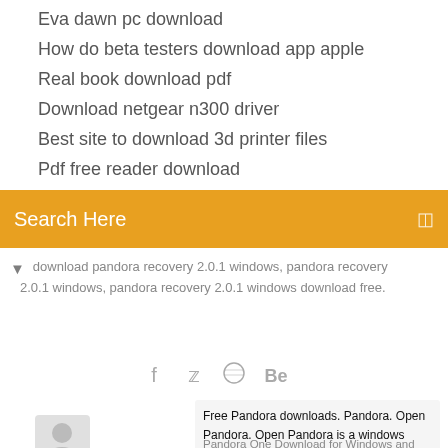Eva dawn pc download
How do beta testers download app apple
Real book download pdf
Download netgear n300 driver
Best site to download 3d printer files
Pdf free reader download
Tile app wont download
Search Here
download pandora recovery 2.0.1 windows, pandora recovery 2.0.1 windows, pandora recovery 2.0.1 windows download free.
[Figure (infographic): Social media icons: Facebook (f), Twitter (bird), Dribbble (circle with lines), Behance (Be)]
Free Pandora downloads. Pandora. Open Pandora. Open Pandora is a windows desktop software that exposes Pandora music discovery service.
Pandora One Download for Windows and iPhone -